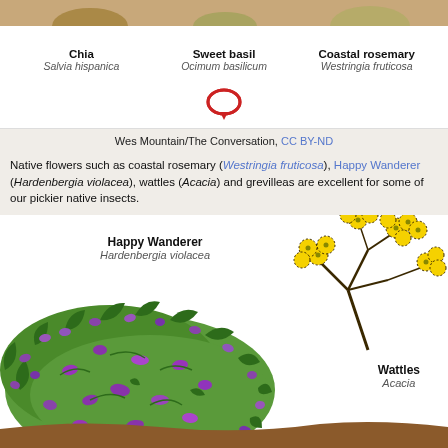[Figure (illustration): Top brown band showing partial illustrations of Chia, Sweet basil, and Coastal rosemary plants]
Chia / Salvia hispanica | Sweet basil / Ocimum basilicum | Coastal rosemary / Westringia fruticosa
[Figure (illustration): Red speech bubble icon]
Wes Mountain/The Conversation, CC BY-ND
Native flowers such as coastal rosemary (Westringia fruticosa), Happy Wanderer (Hardenbergia violacea), wattles (Acacia) and grevilleas are excellent for some of our pickier native insects.
[Figure (illustration): Botanical illustration of Happy Wanderer (Hardenbergia violacea) shrub with purple flowers and green leaves, and Wattles (Acacia) with yellow round flowers on branches. Brown ground at bottom.]